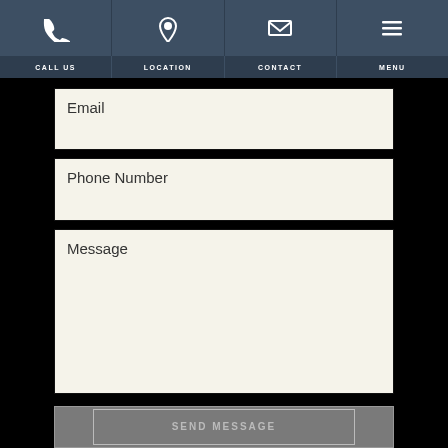CALL US | LOCATION | CONTACT | MENU
Email
Phone Number
Message
SEND MESSAGE